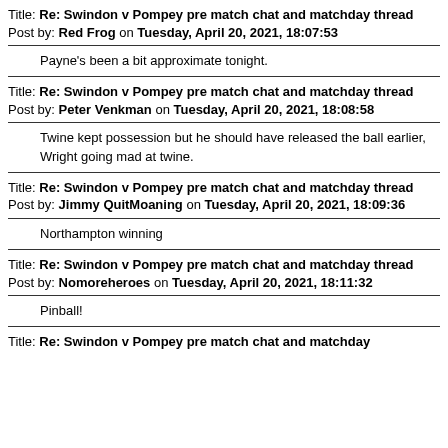Title: Re: Swindon v Pompey pre match chat and matchday thread
Post by: Red Frog on Tuesday, April 20, 2021, 18:07:53
Payne's been a bit approximate tonight.
Title: Re: Swindon v Pompey pre match chat and matchday thread
Post by: Peter Venkman on Tuesday, April 20, 2021, 18:08:58
Twine kept possession but he should have released the ball earlier, Wright going mad at twine.
Title: Re: Swindon v Pompey pre match chat and matchday thread
Post by: Jimmy QuitMoaning on Tuesday, April 20, 2021, 18:09:36
Northampton winning
Title: Re: Swindon v Pompey pre match chat and matchday thread
Post by: Nomoreheroes on Tuesday, April 20, 2021, 18:11:32
Pinball!
Title: Re: Swindon v Pompey pre match chat and matchday thread